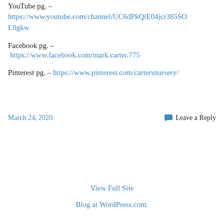YouTube pg. – https://www.youtube.com/channel/UC6dPkQiE04jcr385SOL0gkw
Facebook pg. – https://www.facebook.com/mark.carter.775
Pinterest pg. – https://www.pinterest.com/cartersnursery/
March 24, 2020
Leave a Reply
View Full Site
Blog at WordPress.com.